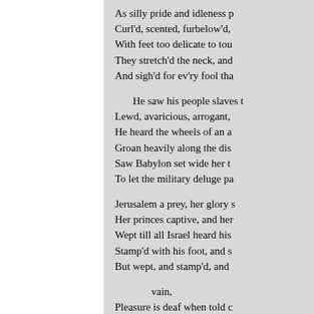As silly pride and idleness p
Curl'd, scented, furbelow'd,
With feet too delicate to tou
They stretch'd the neck, and
And sigh'd for ev'ry fool tha

  He saw his people slaves t
Lewd, avaricious, arrogant,
He heard the wheels of an a
Groan heavily along the dis
Saw Babylon set wide her t
To let the military deluge pa

Jerusalem a prey, her glory s
Her princes captive, and her
Wept till all Israel heard his
Stamp'd with his foot, and s
But wept, and stamp'd, and

       vain,
Pleasure is deaf when told c
And sounds prophetic are to
Ears long accustom'd to the
They scorn'd his inspiration